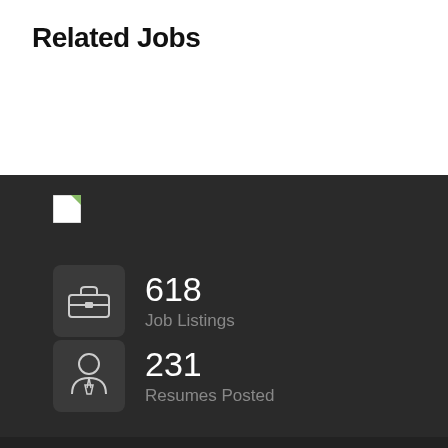Related Jobs
[Figure (illustration): Broken image placeholder icon with green corner fold]
618
Job Listings
231
Resumes Posted